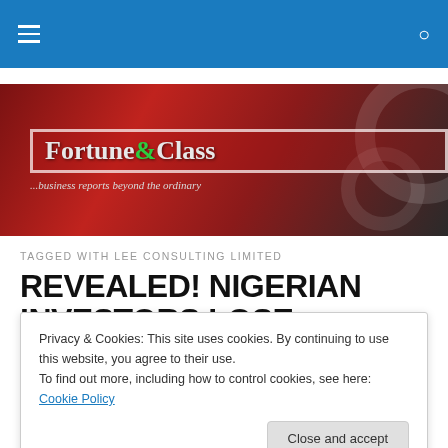Fortune & Class - ...business reports beyond the ordinary
[Figure (logo): Fortune & Class website banner with logo and tagline '...business reports beyond the ordinary' on a dark red gradient background with circular decorative elements]
TAGGED WITH LEE CONSULTING LIMITED
REVEALED! NIGERIAN INVESTORS LOSE NBILLIONS FREEDOM, OTHERS CRASH
Privacy & Cookies: This site uses cookies. By continuing to use this website, you agree to their use. To find out more, including how to control cookies, see here: Cookie Policy
Close and accept